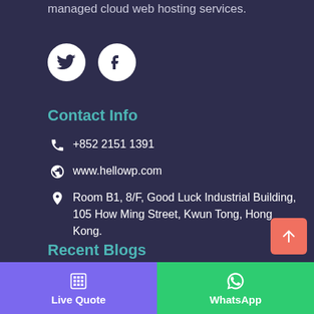managed cloud web hosting services.
[Figure (illustration): Twitter and Facebook social media icon buttons (white circles with dark icons)]
Contact Info
+852 2151 1391
www.hellowp.com
Room B1, 8/F, Good Luck Industrial Building, 105 How Ming Street, Kwun Tong, Hong Kong.
Recent Blogs
[Figure (illustration): Back to top arrow button (orange/salmon rounded square with upward arrow)]
[Figure (illustration): Bottom navigation bar with Live Quote (purple, calculator icon) and WhatsApp (green, WhatsApp icon) buttons]